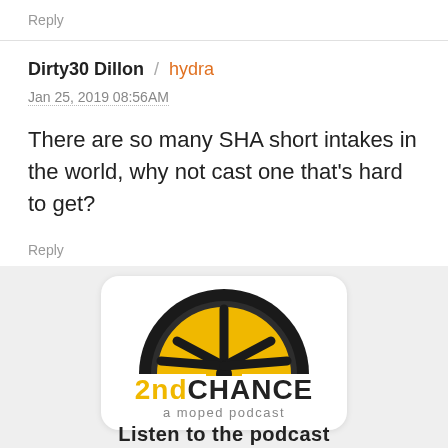Reply
Dirty30 Dillon / hydra
Jan 25, 2019 08:56AM
There are so many SHA short intakes in the world, why not cast one that's hard to get?
Reply
[Figure (logo): 2nd Chance a moped podcast logo — half-wheel graphic in black and yellow above the text '2ndCHANCE a moped podcast' on a white rounded badge, set against a light gray background]
Listen to the podcast